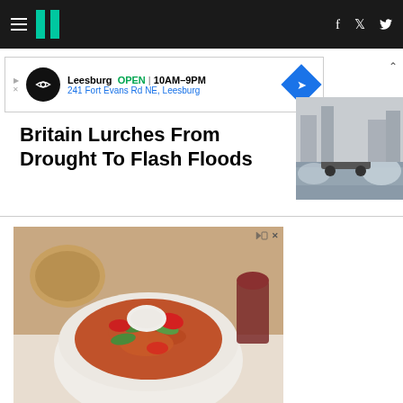HuffPost navigation with hamburger menu, logo, facebook and twitter icons
[Figure (screenshot): Advertisement banner: Leesburg OPEN 10AM-9PM, 241 Fort Evans Rd NE, Leesburg]
Britain Lurches From Drought To Flash Floods
[Figure (photo): Car driving through flooded street with water splashing]
[Figure (photo): Advertisement showing a bowl of pasta/noodles with vegetables and red sauce]